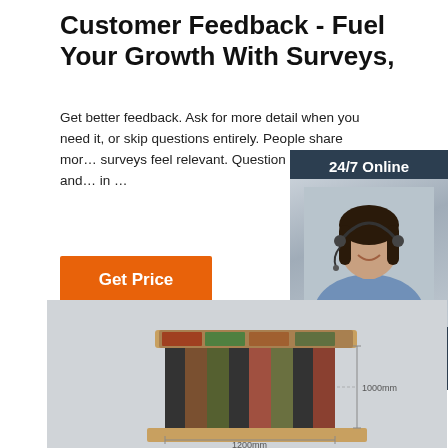Customer Feedback - Fuel Your Growth With Surveys,
Get better feedback. Ask for more detail when you need it, or skip questions entirely. People share more surveys feel relevant. Question branching and in ...
Get Price
[Figure (photo): 24/7 Online chat widget with a photo of a smiling woman with a headset, dark background, 'Click here for free chat!' text and orange QUOTATION button]
[Figure (photo): 3D render of a wooden display kiosk/column with colorful panels and a measurement annotation showing 1000mm height and 1200mm width]